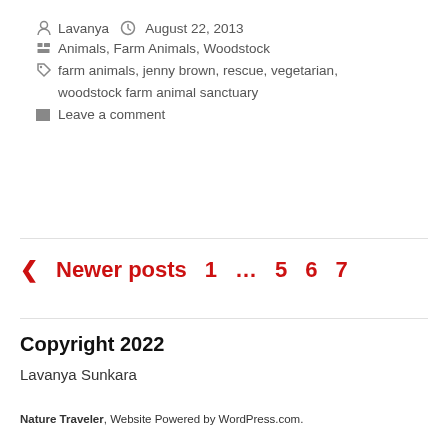Lavanya  August 22, 2013
Animals, Farm Animals, Woodstock
farm animals, jenny brown, rescue, vegetarian, woodstock farm animal sanctuary
Leave a comment
< Newer posts  1  ...  5  6  7
Copyright 2022
Lavanya Sunkara
Nature Traveler, Website Powered by WordPress.com.